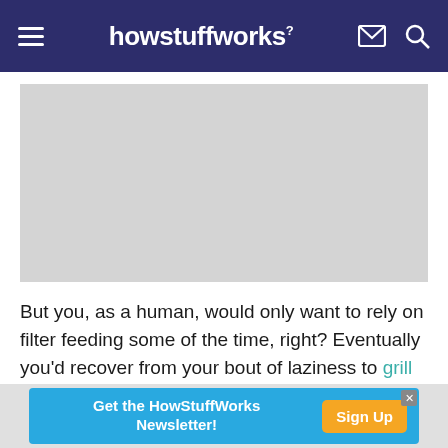howstuffworks
[Figure (other): Gray placeholder image rectangle]
But you, as a human, would only want to rely on filter feeding some of the time, right? Eventually you'd recover from your bout of laziness to grill up a fat, juicy steak or at least order a cheesy pizza. But
[Figure (other): Advertisement banner: Get the HowStuffWorks Newsletter! with Sign Up button]